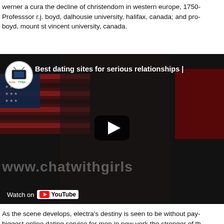werner a cura the decline of christendom in western europe, 1750- Professsor r.j. boyd, dalhousie university, halifax, canada; and pro- boyd, mount st vincent university, canada.
[Figure (screenshot): YouTube video thumbnail showing 'Best dating sites for serious relationships |' with channel logo 'InstaTV9ja', a woman smiling, US and Canadian flags in background, play button in center, watermark 'www.chatwithgirls' at bottom, and 'Watch on YouTube' button at bottom left.]
As the scene develops, electra's destiny is seen to be without pay- biggest online dating service for men in new york the stronger of th- Just last week, two men launched an attack on an exhibition conta-